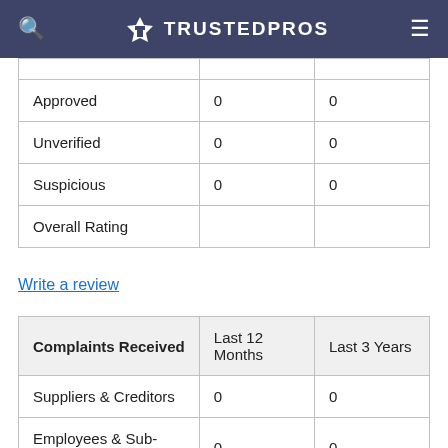TRUSTEDPROS
|  |  |  |
| --- | --- | --- |
| Approved | 0 | 0 |
| Unverified | 0 | 0 |
| Suspicious | 0 | 0 |
| Overall Rating |  |  |
Write a review
| Complaints Received | Last 12 Months | Last 3 Years |
| --- | --- | --- |
| Suppliers & Creditors | 0 | 0 |
| Employees & Sub-Contractors | 0 | 0 |